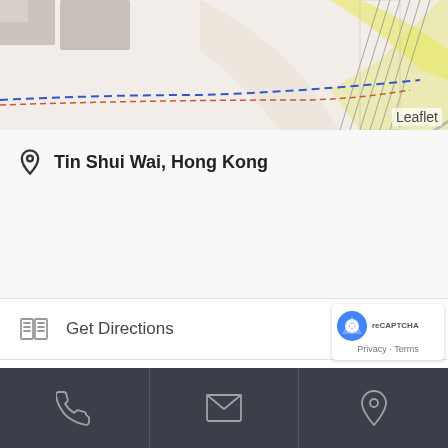[Figure (map): Map screenshot showing Tin Shui Wai, Hong Kong area with roads, buildings, and a 'Leaflet' attribution in the top right corner. Blue and red dashed lines visible on the map.]
Tin Shui Wai, Hong Kong
Get Directions
3690 2981
[Figure (infographic): Dark bottom navigation bar with three sections: phone icon, envelope/email icon, and location pin icon]
[Figure (other): Google reCAPTCHA badge with logo and Privacy - Terms text]